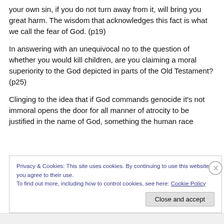your own sin, if you do not turn away from it, will bring you great harm. The wisdom that acknowledges this fact is what we call the fear of God. (p19)
In answering with an unequivocal no to the question of whether you would kill children, are you claiming a moral superiority to the God depicted in parts of the Old Testament? (p25)
Clinging to the idea that if God commands genocide it's not immoral opens the door for all manner of atrocity to be justified in the name of God, something the human race
Privacy & Cookies: This site uses cookies. By continuing to use this website, you agree to their use.
To find out more, including how to control cookies, see here: Cookie Policy
Close and accept